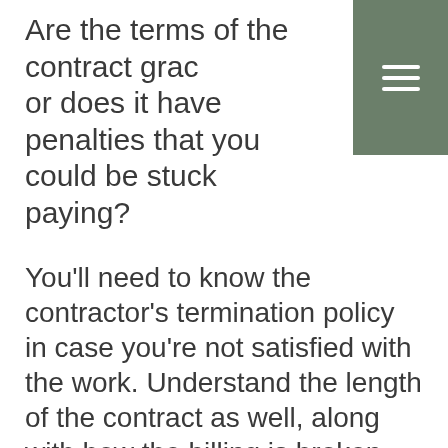Are the terms of the contract gradual, or does it have penalties that you could be stuck paying?
You'll need to know the contractor's termination policy in case you're not satisfied with the work. Understand the length of the contract as well, along with how the billing is broken down each month.
Also, be aware that finding a cheap service provider isn't always to your benefit. There are many factors that play into how certain landscaping